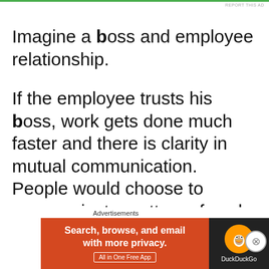REPORT THIS AD
Imagine a boss and employee relationship.
If the employee trusts his boss, work gets done much faster and there is clarity in mutual communication. People would choose to communicate matters of work orally if there is trust, in case of lack of trust, most discussions will have to be done over email. If a
Advertisements
[Figure (screenshot): DuckDuckGo advertisement banner: orange/red left section with text 'Search, browse, and email with more privacy. All in One Free App' and dark right section with DuckDuckGo duck logo and brand name.]